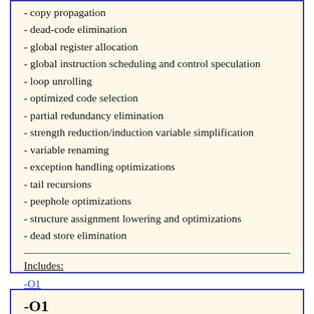- copy propagation
- dead-code elimination
- global register allocation
- global instruction scheduling and control speculation
- loop unrolling
- optimized code selection
- partial redundancy elimination
- strength reduction/induction variable simplification
- variable renaming
- exception handling optimizations
- tail recursions
- peephole optimizations
- structure assignment lowering and optimizations
- dead store elimination
Includes:
-O1
-O1